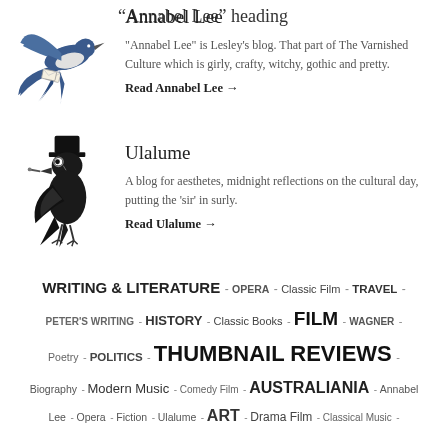Annabel Lee
[Figure (illustration): A stylized swallow bird in flight carrying a small envelope, in blue and white tones]
"Annabel Lee" is Lesley's blog. That part of The Varnished Culture which is girly, crafty, witchy, gothic and pretty.
Read Annabel Lee →
Ulalume
[Figure (illustration): A black crow/raven wearing a top hat and monocle, rendered in black ink style]
A blog for aesthetes, midnight reflections on the cultural day, putting the 'sir' in surly.
Read Ulalume →
WRITING & LITERATURE - OPERA - Classic Film - TRAVEL - PETER'S WRITING - HISTORY - Classic Books - FILM - WAGNER - Poetry - POLITICS - THUMBNAIL REVIEWS - Biography - Modern Music - Comedy Film - AUSTRALIANIA - Annabel Lee - Opera - Fiction - Ulalume - ART - Drama Film - Classical Music -